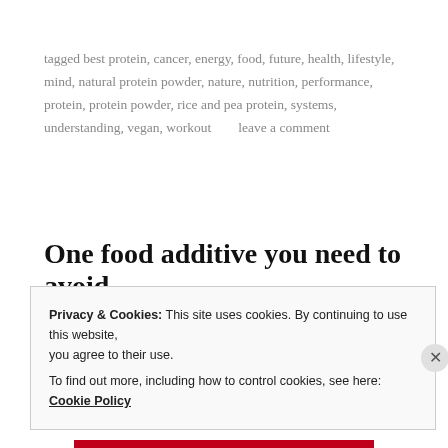tagged best protein, cancer, energy, food, future, health, lifestyle, mind, natural protein powder, nature, nutrition, performance, protein, protein powder, rice and pea protein, systems, understanding, vegan, workout      leave a comment
One food additive you need to avoid
september 20, 2017, posted in additives, cancer, chemical burden, conscious living, food, health, healthy living, lifestyle, preservatives
One aspect of our modern day lives that I'm incredibly
Privacy & Cookies: This site uses cookies. By continuing to use this website, you agree to their use.
To find out more, including how to control cookies, see here: Cookie Policy
Close and accept